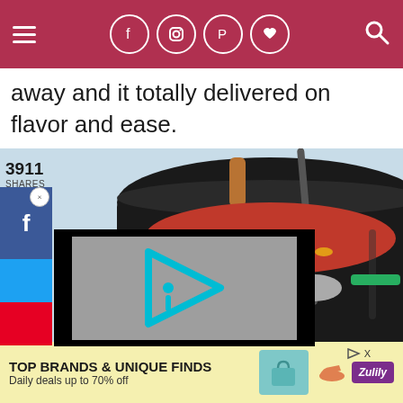Navigation header with hamburger menu, social icons (Facebook, Instagram, Pinterest, Heart), and search icon on dark red background
away and it totally delivered on flavor and ease.
3911
SHARES
[Figure (photo): Close-up photo of a dark pot with a copper-handled ladle, containing red tomato-based chili or stew with vegetables]
[Figure (other): Video player overlay with gray background and cyan/teal play button logo (invidious-style icon)]
[Figure (other): Advertisement banner: TOP BRANDS & UNIQUE FINDS, Daily deals up to 70% off, Zulily branding with bag and shoe images]